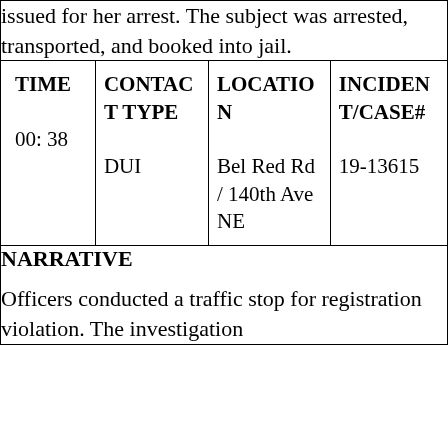issued for her arrest. The subject was arrested, transported, and booked into jail.
| TIME | CONTACT TYPE | LOCATION | INCIDENT/CASE# |
| --- | --- | --- | --- |
| 00: 38 | DUI | Bel Red Rd / 140th Ave NE | 19-13615 |
NARRATIVE
Officers conducted a traffic stop for registration violation. The investigation